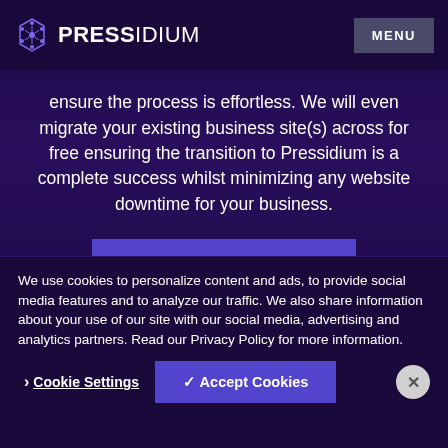PRESSIDIUM | MENU
plan for you. If you decide to make the switch to Pressidium, our onboarding team will ensure the process is effortless. We will even migrate your existing business site(s) across for free ensuring the transition to Pressidium is a complete success whilst minimizing any website downtime for your business.
CONTACT SALES
We use cookies to personalize content and ads, to provide social media features and to analyze our traffic. We also share information about your use of our site with our social media, advertising and analytics partners. Read our Privacy Policy for more information.
Cookie Settings | ✓ Accept Cookies